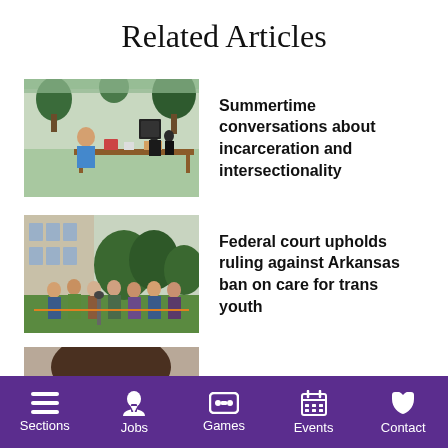Related Articles
[Figure (photo): Outdoor event scene with a man in blue shirt seated at a table with various items, trees and tents in background]
Summertime conversations about incarceration and intersectionality
[Figure (photo): Group of people gathered outdoors in front of a building, some wearing masks, a person speaking at a microphone]
Federal court upholds ruling against Arkansas ban on care for trans youth
[Figure (photo): Partial view of a person's face, cropped at bottom of page]
Sections  Jobs  Games  Events  Contact